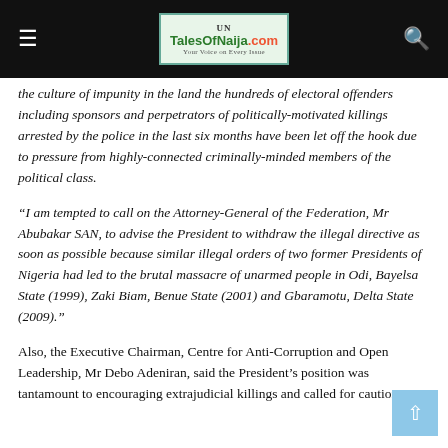TalesOfNaija.com
the culture of impunity in the land the hundreds of electoral offenders including sponsors and perpetrators of politically-motivated killings arrested by the police in the last six months have been let off the hook due to pressure from highly-connected criminally-minded members of the political class.
“I am tempted to call on the Attorney-General of the Federation, Mr Abubakar SAN, to advise the President to withdraw the illegal directive as soon as possible because similar illegal orders of two former Presidents of Nigeria had led to the brutal massacre of unarmed people in Odi, Bayelsa State (1999), Zaki Biam, Benue State (2001) and Gbaramotu, Delta State (2009).”
Also, the Executive Chairman, Centre for Anti-Corruption and Open Leadership, Mr Debo Adeniran, said the President’s position was tantamount to encouraging extrajudicial killings and called for caution.